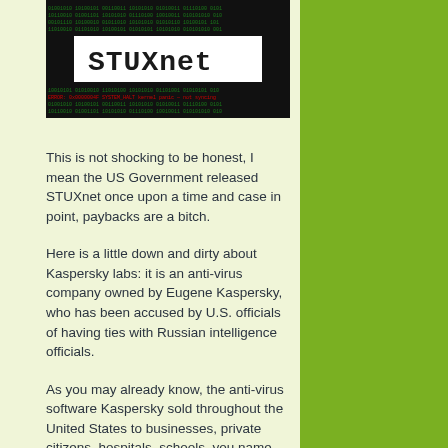[Figure (photo): Dark background image with the text 'STUXnet' displayed in a code/terminal style banner]
This is not shocking to be honest, I mean the US Government released STUXnet once upon a time and case in point, paybacks are a bitch.
Here is a little down and dirty about Kaspersky labs: it is an anti-virus company owned by Eugene Kaspersky, who has been accused by U.S. officials of having ties with Russian intelligence officials.
As you may already know, the anti-virus software Kaspersky sold throughout the United States to businesses, private citizens, hospitals, schools, you name it, the products were widely sold and used here in the US.